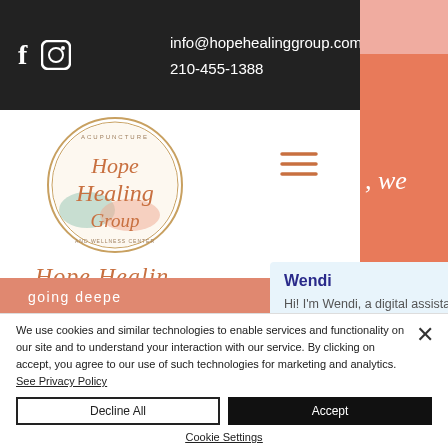info@hopehealinggroup.com
210-455-1388
[Figure (logo): Hope Healing Group circular logo with cursive text and decorative floral elements]
Hope Healin
[Figure (infographic): Chat popup from Wendi, a digital assistant: 'Hi! I'm Wendi, a digital assistant, and I'd love to see how we can help. Are you a new or existing patient?']
going deepe
We use cookies and similar technologies to enable services and functionality on our site and to understand your interaction with our service. By clicking on accept, you agree to our use of such technologies for marketing and analytics. See Privacy Policy
Decline All
Accept
Cookie Settings